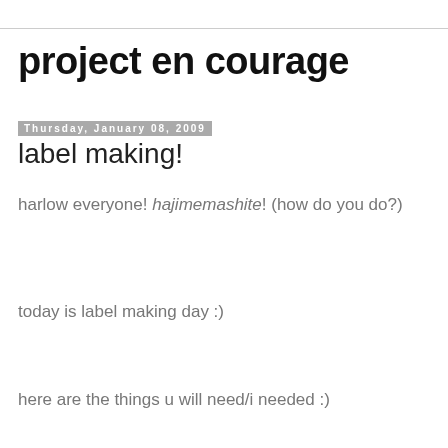project en courage
Thursday, January 08, 2009
label making!
harlow everyone! hajimemashite! (how do you do?)
today is label making day :)
here are the things u will need/i needed :)